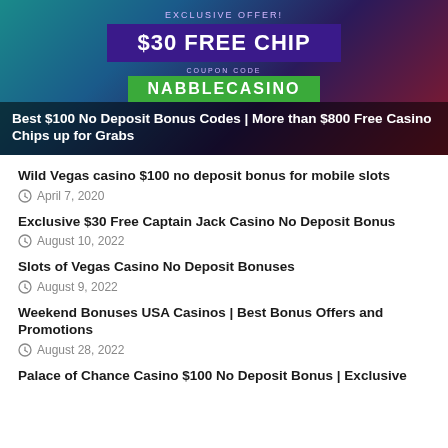[Figure (photo): Casino promotional banner showing $30 Free Chip exclusive offer with coupon code NABBLECASINO, with a woman holding casino chips on the right side]
Best $100 No Deposit Bonus Codes | More than $800 Free Casino Chips up for Grabs
Wild Vegas casino $100 no deposit bonus for mobile slots
April 7, 2020
Exclusive $30 Free Captain Jack Casino No Deposit Bonus
August 10, 2022
Slots of Vegas Casino No Deposit Bonuses
August 9, 2022
Weekend Bonuses USA Casinos | Best Bonus Offers and Promotions
August 28, 2022
Palace of Chance Casino $100 No Deposit Bonus | Exclusive